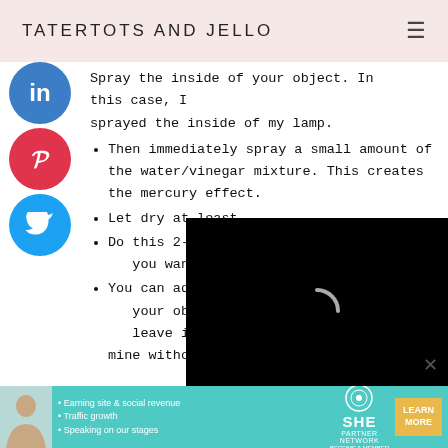TATERTOTS AND JELLO
Spray the inside of your object. In this case, I sprayed the inside of my lamp.
Then immediately spray a small amount of the water/vinegar mixture. This creates the mercury effect.
Let dry at least…
Do this 2-4 mo… you want.
You can add an… your object – li… leave it a little see-through. I left mine without
[Figure (screenshot): Black video player overlay with loading spinner in center]
SHE PARTNER NETWORK — Earning site & social revenue • Traffic growth • Speaking on our stages — LEARN MORE